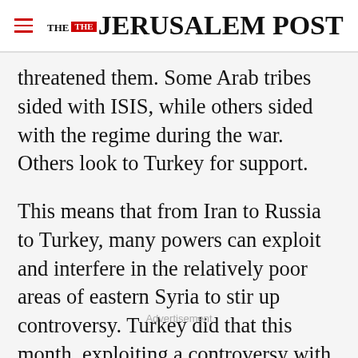THE JERUSALEM POST
threatened them. Some Arab tribes sided with ISIS, while others sided with the regime during the war. Others look to Turkey for support.
This means that from Iran to Russia to Turkey, many powers can exploit and interfere in the relatively poor areas of eastern Syria to stir up controversy. Turkey did that this month, exploiting a controversy with France over cartoons to encourage protesters in Tabqa, Syria
Advertisement